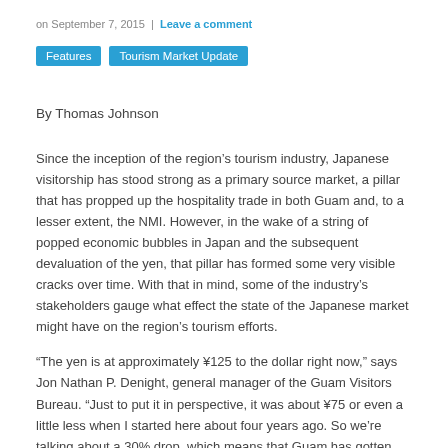on September 7, 2015 | Leave a comment
Features
Tourism Market Update
By Thomas Johnson
Since the inception of the region’s tourism industry, Japanese visitorship has stood strong as a primary source market, a pillar that has propped up the hospitality trade in both Guam and, to a lesser extent, the NMI. However, in the wake of a string of popped economic bubbles in Japan and the subsequent devaluation of the yen, that pillar has formed some very visible cracks over time. With that in mind, some of the industry’s stakeholders gauge what effect the state of the Japanese market might have on the region’s tourism efforts.
“The yen is at approximately ¥125 to the dollar right now,” says Jon Nathan P. Denight, general manager of the Guam Visitors Bureau. “Just to put it in perspective, it was about ¥75 or even a little less when I started here about four years ago. So we’re talking about a 30% drop, which means that Guam has gotten 30% more expensive for them over the past four years.”